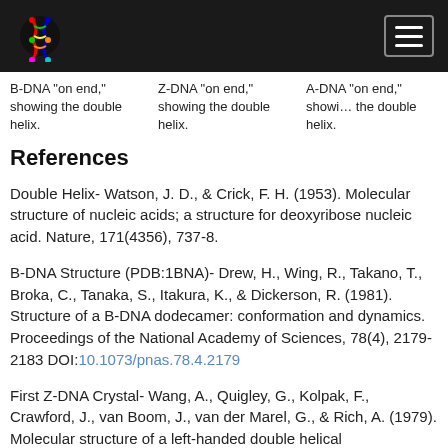Navigation bar with logo and hamburger menu
B-DNA "on end," showing the double helix.
Z-DNA "on end," showing the double helix.
A-DNA "on end," showing the double helix.
References
Double Helix- Watson, J. D., & Crick, F. H. (1953). Molecular structure of nucleic acids; a structure for deoxyribose nucleic acid. Nature, 171(4356), 737-8.
B-DNA Structure (PDB:1BNA)- Drew, H., Wing, R., Takano, T., Broka, C., Tanaka, S., Itakura, K., & Dickerson, R. (1981). Structure of a B-DNA dodecamer: conformation and dynamics. Proceedings of the National Academy of Sciences, 78(4), 2179-2183 DOI:10.1073/pnas.78.4.2179
First Z-DNA Crystal- Wang, A., Quigley, G., Kolpak, F., Crawford, J., van Boom, J., van der Marel, G., & Rich, A. (1979). Molecular structure of a left-handed double helical